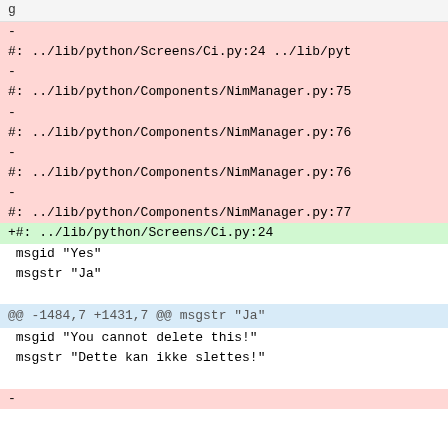g
-
#: ../lib/python/Screens/Ci.py:24 ../lib/pyt
-
#: ../lib/python/Components/NimManager.py:75
-
#: ../lib/python/Components/NimManager.py:76
-
#: ../lib/python/Components/NimManager.py:76
-
#: ../lib/python/Components/NimManager.py:77
+#: ../lib/python/Screens/Ci.py:24
 msgid "Yes"
 msgstr "Ja"
@@ -1484,7 +1431,7 @@ msgstr "Ja"
msgid "You cannot delete this!"
 msgstr "Dette kan ikke slettes!"
-